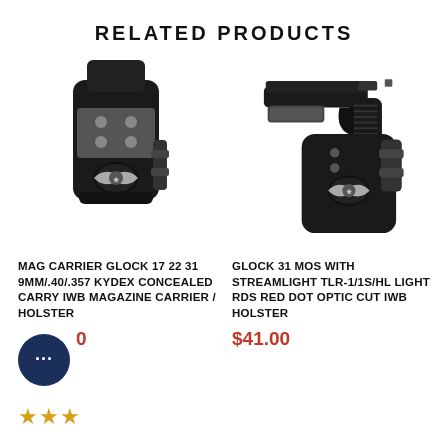RELATED PRODUCTS
[Figure (photo): Black Kydex magazine carrier holster for Glock with eagle logo badge]
[Figure (photo): Black IWB holster with Glock 31 pistol and Streamlight TLR light attached, eagle logo badge]
MAG CARRIER GLOCK 17 22 31 9MM/.40/.357 KYDEX CONCEALED CARRY IWB MAGAZINE CARRIER / HOLSTER
GLOCK 31 MOS WITH STREAMLIGHT TLR-1/1S/HL LIGHT RDS RED DOT OPTIC CUT IWB HOLSTER
$41.00